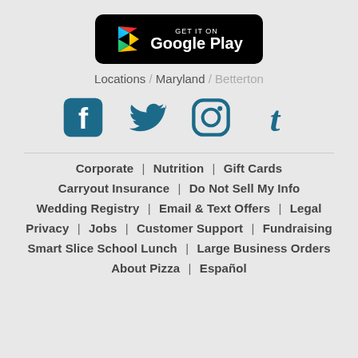[Figure (logo): Get it on Google Play button — black rounded rectangle with Google Play logo and text]
Locations / Maryland / Betterton
[Figure (infographic): Social media icons: Facebook, Twitter, Instagram, Tumblr — all in dark teal color]
Corporate | Nutrition | Gift Cards
Carryout Insurance | Do Not Sell My Info
Wedding Registry | Email & Text Offers | Legal
Privacy | Jobs | Customer Support | Fundraising
Smart Slice School Lunch | Large Business Orders
About Pizza | Español